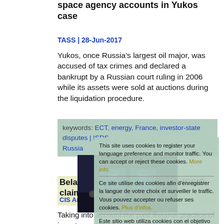space agency accounts in Yukos case
TASS | 28-Jun-2017
Yukos, once Russia's largest oil major, was accused of tax crimes and declared a bankrupt by a Russian court ruling in 2006 while its assets were sold at auctions during the liquidation procedure.
keywords: ECT, energy, France, investor-state disputes | ISDS, Russia
This site uses cookies to register your language preference and monitor traffic. You can accept or reject these cookies. More info.
Ce site utilise des cookies afin d'enregistrer la langue de votre choix et surveiller le traffic. Vous pouvez accepter ou refuser ses cookies. Plus d'infos.
Este sitio web utiliza cookies con el objetivo de registrar su idioma preferido y controlar el tráfico. Puede aceptar o rechazar estas cookies. Mayor información.
[Figure (photo): ICSID CIADI arbitration hearing room with two ICSID logos visible on blue backdrop and people seated at tables]
Belarus first time may face an ICSID claim
CIS Arbitration Forum | 14-Jun-2017
Taking into account the past Belarus practice of investor – state dispute settlement, the parties are more likely to settle the Mondis v. Russia arbitration agreement of the